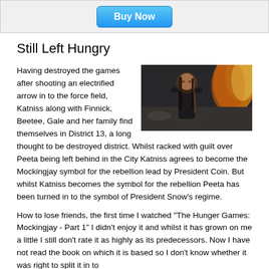[Figure (screenshot): Buy Now button on a light gray banner/widget at the top of the page]
Still Left Hungry
[Figure (photo): Movie still from The Hunger Games: Mockingjay showing a woman (Katniss) in dark armor standing in front of fire and smoke]
Having destroyed the games after shooting an electrified arrow in to the force field, Katniss along with Finnick, Beetee, Gale and her family find themselves in District 13, a long thought to be destroyed district. Whilst racked with guilt over Peeta being left behind in the City Katniss agrees to become the Mockingjay symbol for the rebellion lead by President Coin. But whilst Katniss becomes the symbol for the rebellion Peeta has been turned in to the symbol of President Snow's regime.
How to lose friends, the first time I watched "The Hunger Games: Mockingjay - Part 1" I didn't enjoy it and whilst it has grown on me a little I still don't rate it as highly as its predecessors. Now I have not read the book on which it is based so I don't know whether it was right to split it in to